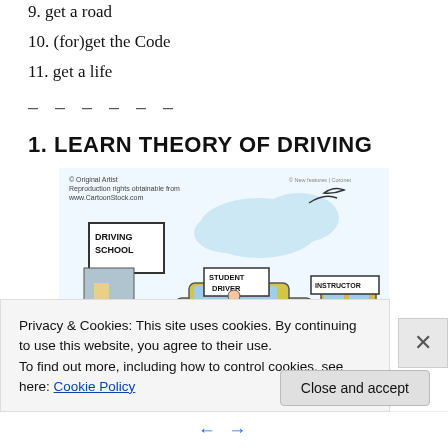9. get a road
10. (for)get the Code
11. get a life
– – – – – –
1. LEARN THEORY OF DRIVING
[Figure (illustration): Cartoon showing a driving school scene with a student driver car and instructor car, with a sign reading 'DRIVING SCHOOL'. Copyright notice: © Original Artist. Reproduction rights obtainable from www.CartoonStock.com]
Privacy & Cookies: This site uses cookies. By continuing to use this website, you agree to their use.
To find out more, including how to control cookies, see here: Cookie Policy
Close and accept